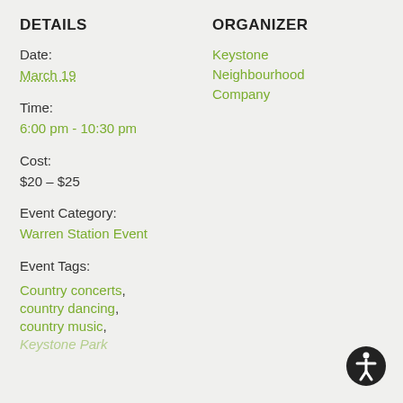DETAILS
Date:
March 19
Time:
6:00 pm - 10:30 pm
Cost:
$20 – $25
Event Category:
Warren Station Event
Event Tags:
Country concerts, country dancing, country music,
ORGANIZER
Keystone Neighbourhood Company